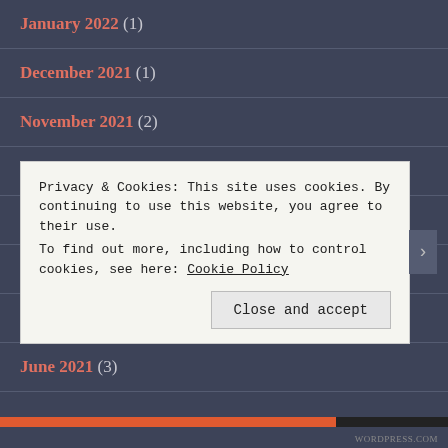January 2022 (1)
December 2021 (1)
November 2021 (2)
October 2021 (4)
September 2021 (1)
August 2021 (1)
July 2021 (2)
June 2021 (3)
Privacy & Cookies: This site uses cookies. By continuing to use this website, you agree to their use. To find out more, including how to control cookies, see here: Cookie Policy
Close and accept